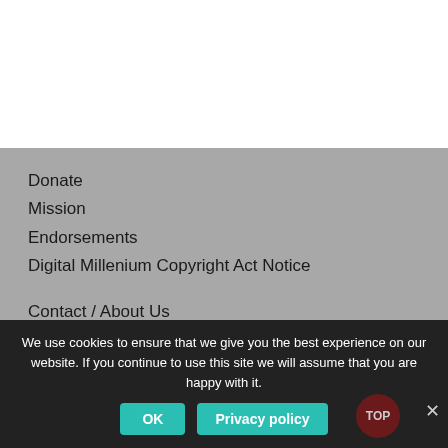Donate
Mission
Endorsements
Digital Millenium Copyright Act Notice
Contact / About Us
Donate Photos
Donate Documents and Clippings
Volunteer
We use cookies to ensure that we give you the best experience on our website. If you continue to use this site we will assume that you are happy with it.
OK
Privacy policy